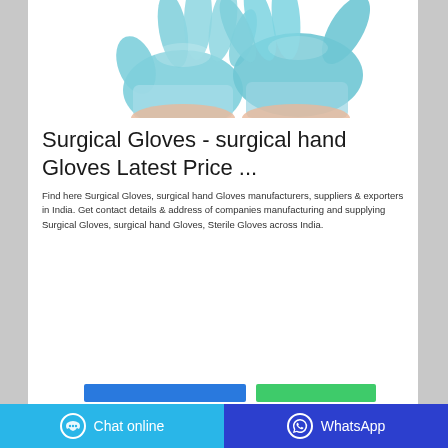[Figure (photo): Photo of blue surgical/nitrile gloves on a person's hands against a white background]
Surgical Gloves - surgical hand Gloves Latest Price ...
Find here Surgical Gloves, surgical hand Gloves manufacturers, suppliers & exporters in India. Get contact details & address of companies manufacturing and supplying Surgical Gloves, surgical hand Gloves, Sterile Gloves across India.
Chat online | WhatsApp